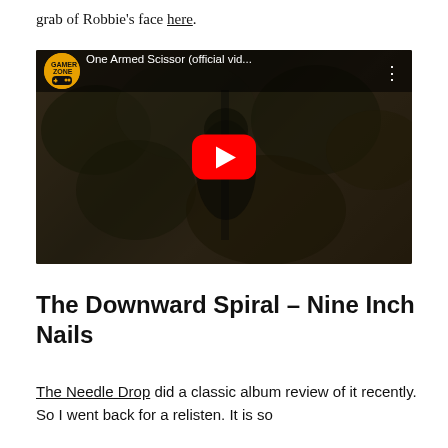grab of Robbie's face here.
[Figure (screenshot): Embedded YouTube video player showing 'One Armed Scissor (official vid...' with a Gamer Zone channel icon, dark sepia-toned video thumbnail of a person in vegetation, and a red YouTube play button in the center.]
The Downward Spiral – Nine Inch Nails
The Needle Drop did a classic album review of it recently. So I went back for a relisten. It is so